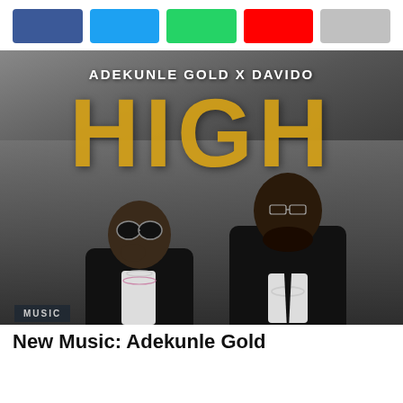[Figure (other): Social media share buttons: Facebook (blue), Twitter (light blue), WhatsApp (green), YouTube (red), Share (grey)]
[Figure (photo): Album art for 'HIGH' by Adekunle Gold x Davido. Black and white photo of two men in suits against a dramatic sky. Large yellow distressed 'HIGH' text on top. Artist names 'ADEKUNLE GOLD X DAVIDO' above.]
MUSIC
New Music: Adekunle Gold